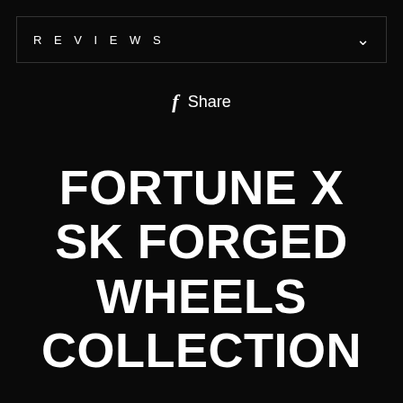REVIEWS
f Share
FORTUNE X SK FORGED WHEELS COLLECTION